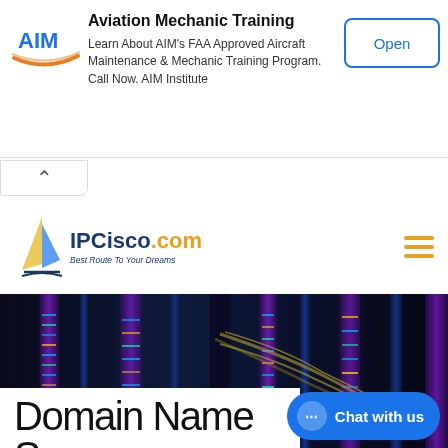[Figure (other): Advertisement banner for AIM Institute Aviation Mechanic Training with logo, description text, and Open button]
Aviation Mechanic Training
Learn About AIM's FAA Approved Aircraft Maintenance & Mechanic Training Program. Call Now. AIM Institute
[Figure (logo): IPCisco.com logo with sailboat icon and tagline 'Best Route To Your Dreams']
[Figure (photo): Dark blue photo of server rack data center with glowing lights and cables]
Domain Name S... Overview